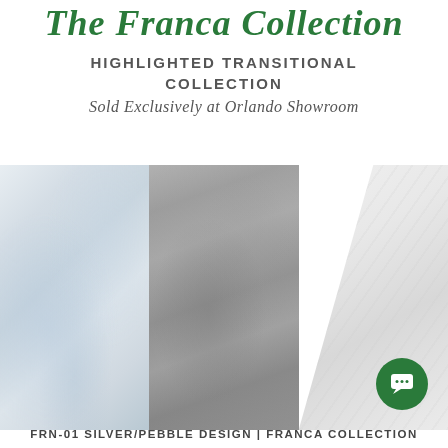The Franca Collection
HIGHLIGHTED TRANSITIONAL COLLECTION
Sold Exclusively at Orlando Showroom
[Figure (photo): Three rug samples side by side: left rug is silver/light blue-white textured, center rug is medium gray/pebble textured, right rug is light/white with diagonal geometric pattern — all from the Franca Collection]
FRN-01 SILVER/PEBBLE DESIGN | FRANCA COLLECTION